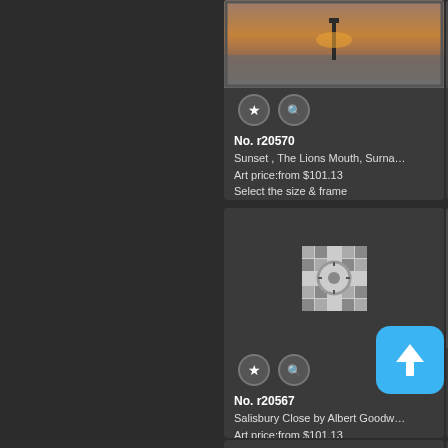[Figure (screenshot): Art print product listing UI on dark background. Shows product card for 'No. r20570 - Sunset, The Lions Mouth, Surna...' with painting image, star and search icons, price from $101.13, and 'Select the size & frame' link. Below is another card for 'No. r20567 - Salisbury Close by Albert Goodw...' with a loading spinner placeholder, same price and options. Partial right-side cards visible. A blue upload button with upward arrow overlays the bottom-right area.]